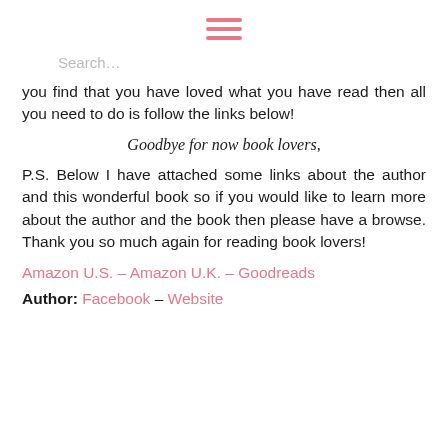[Figure (other): Hamburger menu icon made of three pink horizontal lines]
Search...
you find that you have loved what you have read then all you need to do is follow the links below!
Goodbye for now book lovers,
P.S. Below I have attached some links about the author and this wonderful book so if you would like to learn more about the author and the book then please have a browse. Thank you so much again for reading book lovers!
Amazon U.S. – Amazon U.K. – Goodreads
Author: Facebook – Website